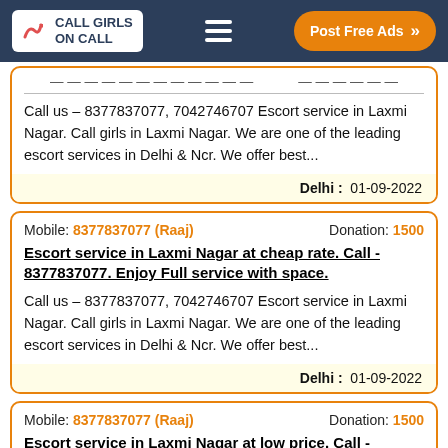CALL GIRLS ON CALL | Post Free Ads
Call us – 8377837077, 7042746707 Escort service in Laxmi Nagar. Call girls in Laxmi Nagar. We are one of the leading escort services in Delhi & Ncr. We offer best...
Delhi :  01-09-2022
Mobile: 8377837077 (Raaj)   Donation: 1500
Escort service in Laxmi Nagar at cheap rate. Call - 8377837077. Enjoy Full service with space.
Call us – 8377837077, 7042746707 Escort service in Laxmi Nagar. Call girls in Laxmi Nagar. We are one of the leading escort services in Delhi & Ncr. We offer best...
Delhi :  01-09-2022
Mobile: 8377837077 (Raaj)   Donation: 1500
Escort service in Laxmi Nagar at low price. Call -